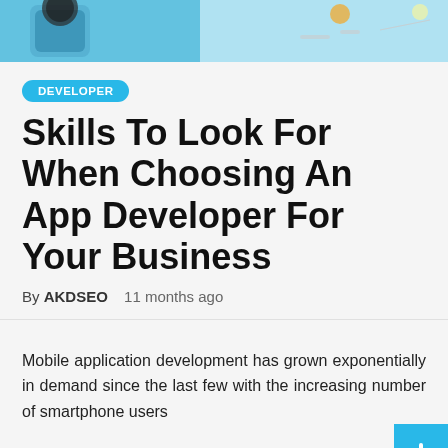[Figure (photo): Hero banner image showing a hand holding a smartphone with app/tech design elements and icons on a light blue background]
DEVELOPER
Skills To Look For When Choosing An App Developer For Your Business
By AKDSEO   11 months ago
Mobile application development has grown exponentially in demand since the last few with the increasing number of smartphone users